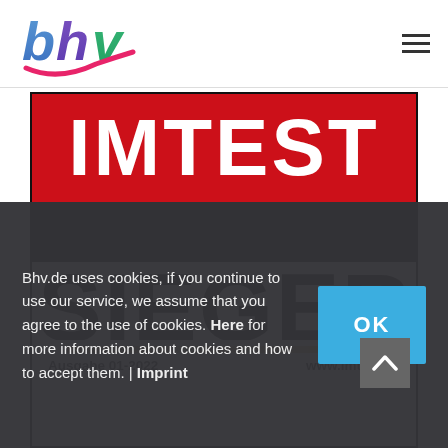[Figure (logo): BHV logo with stylized blue and pink 'bhv' text and a pink checkmark underline]
[Figure (screenshot): IMTEST magazine award logo showing 'IMTEST' in white on red background, partially visible 'SIEGER' in black, gold divider line, and 'Ausgabe 01-2022 www.imtest.de' text at bottom]
Bhv.de uses cookies, if you continue to use our service, we assume that you agree to the use of cookies. Here for more information about cookies and how to accept them. | Imprint